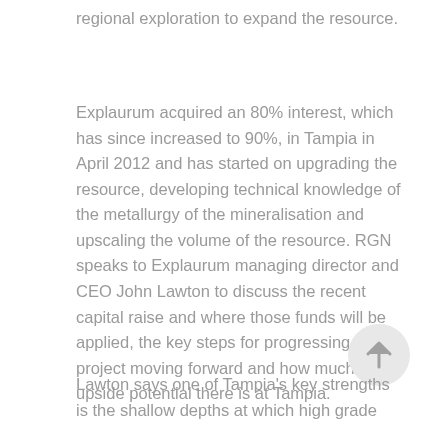regional exploration to expand the resource.
Explaurum acquired an 80% interest, which has since increased to 90%, in Tampia in April 2012 and has started on upgrading the resource, developing technical knowledge of the metallurgy of the mineralisation and upscaling the volume of the resource. RGN speaks to Explaurum managing director and CEO John Lawton to discuss the recent capital raise and where those funds will be applied, the key steps for progressing the project moving forward and how much upside potential there is at Tampia.
Lawton says one of Tampia's key strengths is the shallow depths at which high grade